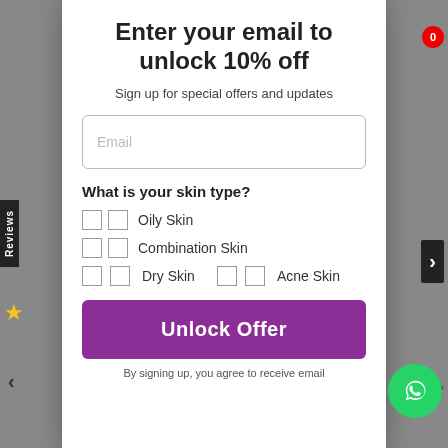Enter your email to unlock 10% off
Sign up for special offers and updates
Email
What is your skin type?
Oily Skin
Combination Skin
Dry Skin
Acne Skin
Unlock Offer
By signing up, you agree to receive email